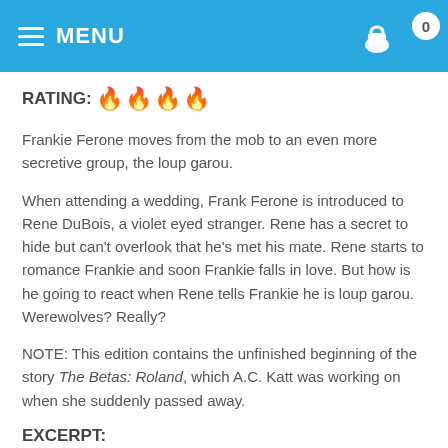MENU
RATING: 🔥🔥🔥🔥
Frankie Ferone moves from the mob to an even more secretive group, the loup garou.
When attending a wedding, Frank Ferone is introduced to Rene DuBois, a violet eyed stranger. Rene has a secret to hide but can't overlook that he's met his mate. Rene starts to romance Frankie and soon Frankie falls in love. But how is he going to react when Rene tells Frankie he is loup garou. Werewolves? Really?
NOTE: This edition contains the unfinished beginning of the story The Betas: Roland, which A.C. Katt was working on when she suddenly passed away.
EXCERPT: